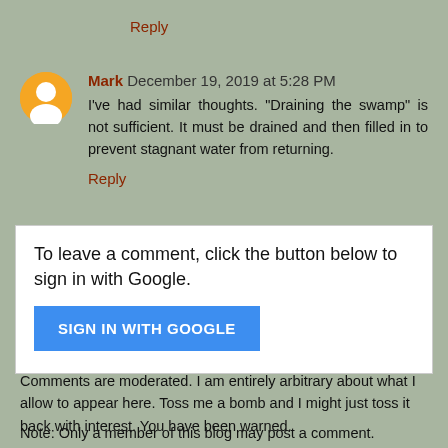Reply
Mark December 19, 2019 at 5:28 PM
I've had similar thoughts. "Draining the swamp" is not sufficient. It must be drained and then filled in to prevent stagnant water from returning.
Reply
To leave a comment, click the button below to sign in with Google.
SIGN IN WITH GOOGLE
Comments are moderated. I am entirely arbitrary about what I allow to appear here. Toss me a bomb and I might just toss it back with interest. You have been warned.
Note: Only a member of this blog may post a comment.